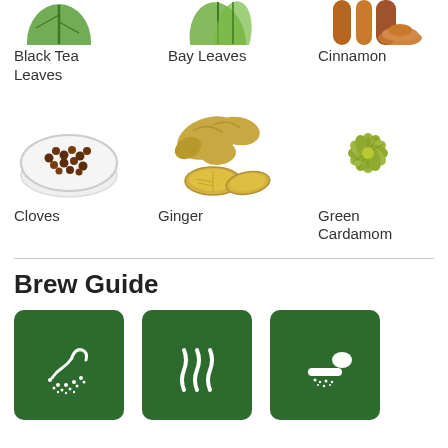[Figure (photo): Black Tea Leaves ingredient image (top, partially cropped)]
Black Tea Leaves
[Figure (photo): Bay Leaves ingredient image (top, partially cropped)]
Bay Leaves
[Figure (photo): Cinnamon ingredient image (top, partially cropped)]
Cinnamon
[Figure (photo): Cloves in a white bowl]
Cloves
[Figure (photo): Ginger root and slices]
Ginger
[Figure (photo): Green Cardamom pods]
Green Cardamom
Brew Guide
[Figure (illustration): Dark green square icon with white water/spray illustration]
[Figure (illustration): Dark green square icon with white steam/heat waves illustration]
[Figure (illustration): Dark green square icon with white spoon/sugar illustration]